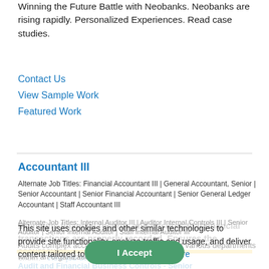Winning the Future Battle with Neobanks. Neobanks are rising rapidly. Personalized Experiences. Read case studies.
Contact Us
View Sample Work
Featured Work
Accountant III
Alternate Job Titles: Financial Accountant III | General Accountant, Senior | Senior Accountant | Senior Financial Accountant | Senior General Ledger Accountant | Staff Accountant III
Maintains financial records and ensures that financial transactions are properly recorded. Ensures the accuracy of entri...
View job details
This site uses cookies and other similar technologies to provide site functionality, analyze traffic and usage, and deliver content tailored to your interests. | Learn More
Audit and Financial Business Controls - Senior
Alternate Job Titles: Internal Auditor III | Auditor Internal Controls III | Senior Auditor | Senior Internal Auditor | Staff Internal Auditor III
Audits complex accounting and financial data of various departments within an organization to ensure accuracy and